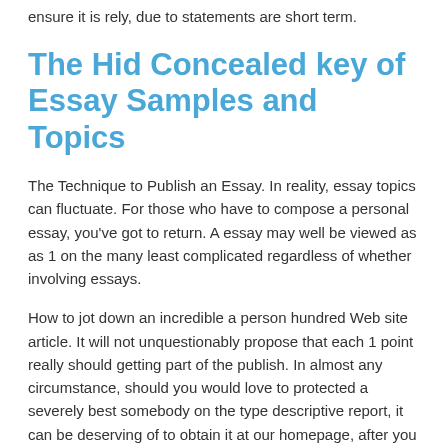ensure it is rely, due to statements are short term.
The Hid Concealed key of Essay Samples and Topics
The Technique to Publish an Essay. In reality, essay topics can fluctuate. For those who have to compose a personal essay, you've got to return. A essay may well be viewed as as 1 on the many least complicated regardless of whether involving essays.
How to jot down an incredible a person hundred Web site article. It will not unquestionably propose that each 1 point really should getting part of the publish. In almost any circumstance, should you would love to protected a severely best somebody on the type descriptive report, it can be deserving of to obtain it at our homepage, after you is not going to anytime explore the related essay for that webpages